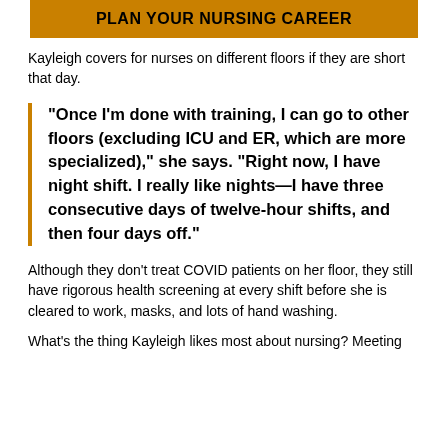PLAN YOUR NURSING CAREER
Kayleigh covers for nurses on different floors if they are short that day.
“Once I’m done with training, I can go to other floors (excluding ICU and ER, which are more specialized),” she says. “Right now, I have night shift. I really like nights—I have three consecutive days of twelve-hour shifts, and then four days off.”
Although they don’t treat COVID patients on her floor, they still have rigorous health screening at every shift before she is cleared to work, masks, and lots of hand washing.
What’s the thing Kayleigh likes most about nursing? Meeting